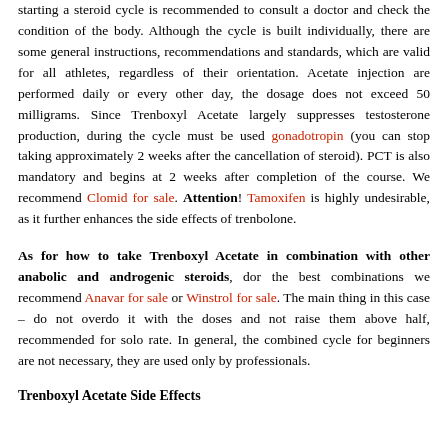starting a steroid cycle is recommended to consult a doctor and check the condition of the body. Although the cycle is built individually, there are some general instructions, recommendations and standards, which are valid for all athletes, regardless of their orientation. Acetate injection are performed daily or every other day, the dosage does not exceed 50 milligrams. Since Trenboxyl Acetate largely suppresses testosterone production, during the cycle must be used gonadotropin (you can stop taking approximately 2 weeks after the cancellation of steroid). PCT is also mandatory and begins at 2 weeks after completion of the course. We recommend Clomid for sale. Attention! Tamoxifen is highly undesirable, as it further enhances the side effects of trenbolone.
As for how to take Trenboxyl Acetate in combination with other anabolic and androgenic steroids, dor the best combinations we recommend Anavar for sale or Winstrol for sale. The main thing in this case – do not overdo it with the doses and not raise them above half, recommended for solo rate. In general, the combined cycle for beginners are not necessary, they are used only by professionals.
Trenboxyl Acetate Side Effects